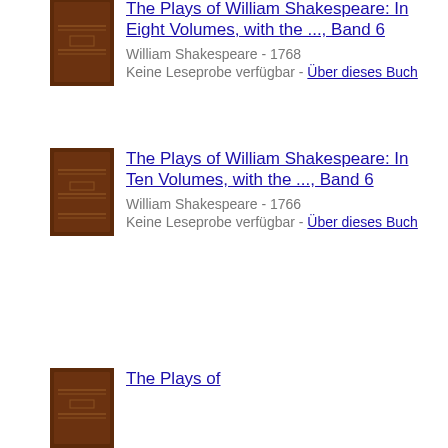[Figure (illustration): Book cover thumbnail - dark brown hardcover book]
The Plays of William Shakespeare: In Eight Volumes, with the ..., Band 6
William Shakespeare - 1768
Keine Leseprobe verfügbar - Über dieses Buch
[Figure (illustration): Book cover thumbnail - dark brown hardcover book]
The Plays of William Shakespeare: In Ten Volumes, with the ..., Band 6
William Shakespeare - 1766
Keine Leseprobe verfügbar - Über dieses Buch
[Figure (illustration): Book cover thumbnail - dark brown hardcover book]
The Plays of